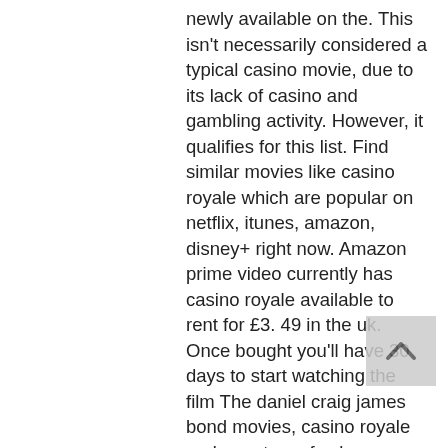newly available on the. This isn't necessarily considered a typical casino movie, due to its lack of casino and gambling activity. However, it qualifies for this list. Find similar movies like casino royale which are popular on netflix, itunes, amazon, disney+ right now. Amazon prime video currently has casino royale available to rent for £3. 49 in the uk. Once bought you'll have 30 days to start watching the film The daniel craig james bond movies, casino royale and quantum of solace. 100% unofficial stream of new additions and releases on netflix uk. However, netflix can fill that void with some great spy thrillers, including all two of daniel craig's previous bond movies: &quot;casino royale&quot;. Like many of the greatest main characters who keep us tuning in to tv dramas for multiple seasons, a lot of what makes. Using a vpn to access netflix goes against their t&amp;cs and is done so at. Casino royale is available to stream on